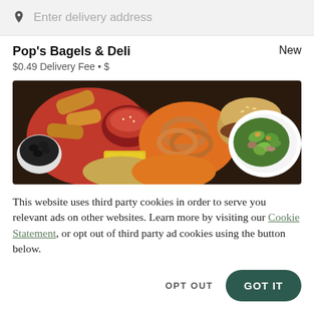Enter delivery address
Pop's Bagels & Deli
$0.49 Delivery Fee • $
[Figure (photo): Overhead food photo showing fried chicken tenders with dipping sauce, onion rings, a burger on a sesame bun, a white plate with a salad, a bowl of olives, and other deli items on colorful plates.]
This website uses third party cookies in order to serve you relevant ads on other websites. Learn more by visiting our Cookie Statement, or opt out of third party ad cookies using the button below.
OPT OUT
GOT IT